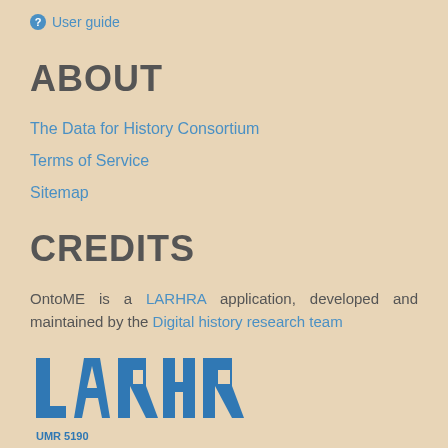User guide
ABOUT
The Data for History Consortium
Terms of Service
Sitemap
CREDITS
OntoME is a LARHRA application, developed and maintained by the Digital history research team
[Figure (logo): LARHRA UMR 5190 logo in blue on beige background]